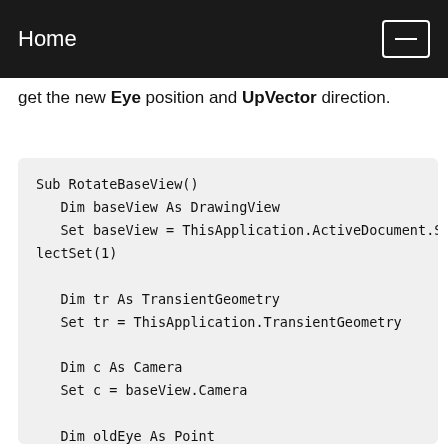Home
get the new Eye position and UpVector direction.
Sub RotateBaseView()
    Dim baseView As DrawingView
    Set baseView = ThisApplication.ActiveDocument.SelectSet(1)

    Dim tr As TransientGeometry
    Set tr = ThisApplication.TransientGeometry

    Dim c As Camera
    Set c = baseView.Camera

    Dim oldEye As Point
    Set oldEye = c.eye.Copy

    Dim oldTarget As Point
    Set oldTarget = c.Target.Copy

    Dim oldUpVector As UnitVector
    Set oldUpVector = c.UpVector.Copy